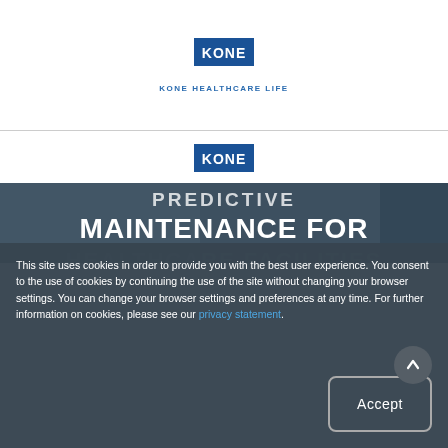[Figure (logo): KONE logo (blue square with white KONE text) at top center of page]
KONE HEALTHCARE LIFE
[Figure (logo): KONE logo (blue square with white KONE text) second instance]
[Figure (photo): Dark-toned hero image showing elevator/maintenance worker, overlaid with bold white uppercase text: PREDICTIVE MAINTENANCE FOR HEALTHCARE FACILITIES]
This site uses cookies in order to provide you with the best user experience. You consent to the use of cookies by continuing the use of the site without changing your browser settings. You can change your browser settings and preferences at any time. For further information on cookies, please see our privacy statement.